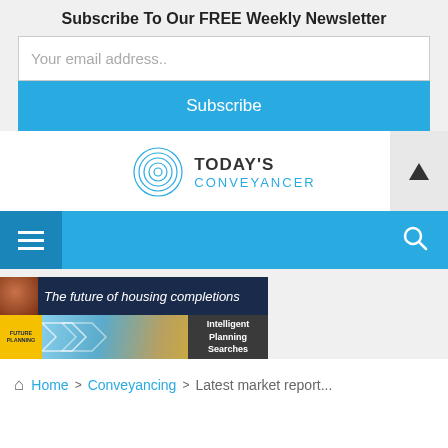Subscribe To Our FREE Weekly Newsletter
Your email address..
Subscribe
[Figure (logo): Today's Conveyancer logo with circular fingerprint-style icon]
[Figure (infographic): Navigation bar with hamburger menu icon on left and search icon on right, cyan/blue background]
[Figure (infographic): Ad banner: The future of housing completions - dark blue background]
[Figure (infographic): Ad banner: Future Planning - Intelligent Planning Searches]
Home  >  Conveyancing  >  Latest market report...